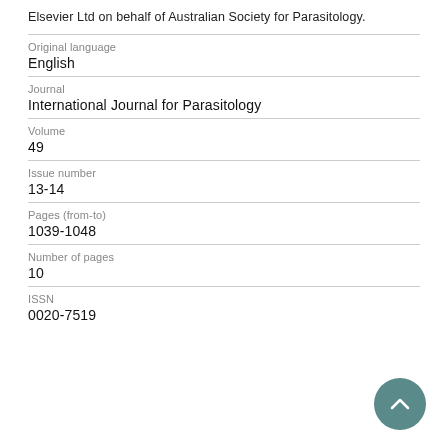Elsevier Ltd on behalf of Australian Society for Parasitology.
| Field | Value |
| --- | --- |
| Original language | English |
| Journal | International Journal for Parasitology |
| Volume | 49 |
| Issue number | 13-14 |
| Pages (from-to) | 1039-1048 |
| Number of pages | 10 |
| ISSN | 0020-7519 |